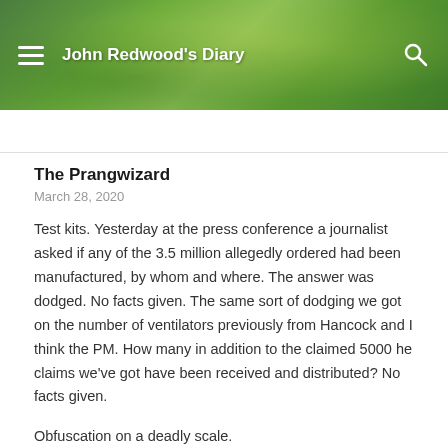John Redwood's Diary
The Prangwizard
March 28, 2020
Test kits. Yesterday at the press conference a journalist asked if any of the 3.5 million allegedly ordered had been manufactured, by whom and where. The answer was dodged. No facts given. The same sort of dodging we got on the number of ventilators previously from Hancock and I think the PM. How many in addition to the claimed 5000 he claims we've got have been received and distributed? No facts given.
Obfuscation on a deadly scale.